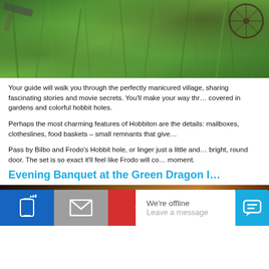[Figure (photo): Aerial or ground-level photo of lush green grass with what appears to be a bicycle wheel visible in the upper right corner.]
Your guide will walk you through the perfectly manicured village, sharing fascinating stories and movie secrets. You'll make your way through paths covered in gardens and colorful hobbit holes.
Perhaps the most charming features of Hobbiton are the details: mailboxes, clotheslines, food baskets – small remnants that give...
Pass by Bilbo and Frodo's Hobbit hole, or linger just a little and peek through the bright, round door. The set is so exact it'll feel like Frodo will come out any moment.
Evening Banquet at the Green Dragon I...
[Figure (photo): Warm, dimly lit interior photo suggesting a medieval tavern or pub with warm amber/orange lighting.]
We're offline
Leave a message